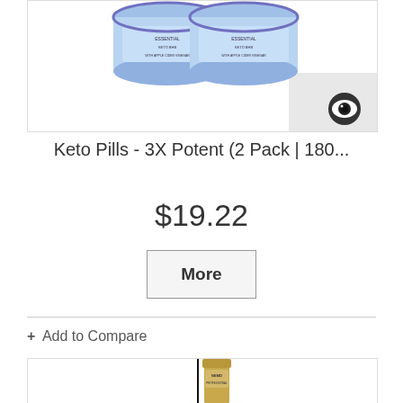[Figure (photo): Product image showing two containers of Keto Pills supplement, with an eye-shaped logo in the bottom right corner of the image box]
Keto Pills - 3X Potent (2 Pack | 180...
$19.22
More
+ Add to Compare
[Figure (photo): Partial product image showing a cosmetic eyeliner or serum applicator (appears to be an NEMD brand product) with a thin brush applicator, bottom portion of image visible]